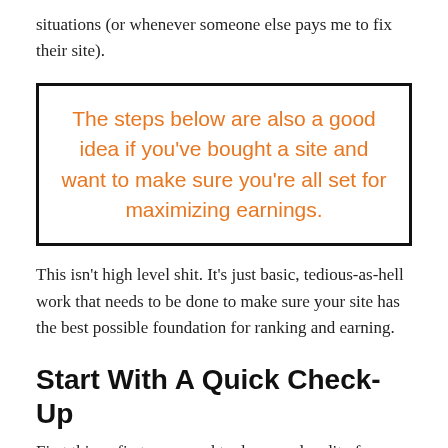situations (or whenever someone else pays me to fix their site).
The steps below are also a good idea if you've bought a site and want to make sure you're all set for maximizing earnings.
This isn't high level shit. It's just basic, tedious-as-hell work that needs to be done to make sure your site has the best possible foundation for ranking and earning.
Start With A Quick Check-Up
First things first, you need to do a good audit of